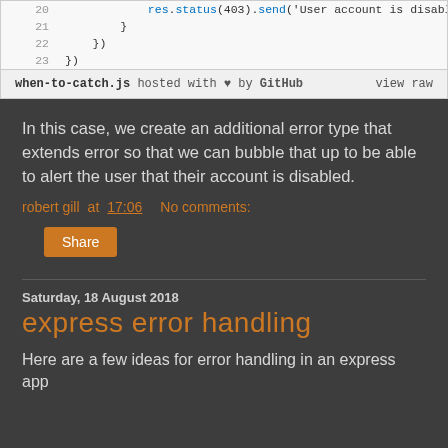[Figure (screenshot): Code snippet showing lines 20-23 of when-to-catch.js with res.status(403).send call and closing braces, hosted on GitHub]
In this case, we create an additional error type that extends error so that we can bubble that up to be able to alert the user that their account is disabled.
robert gill at 17:06   No comments:
Share
Saturday, 18 August 2018
express error handling
Here are a few ideas for error handling in an express app